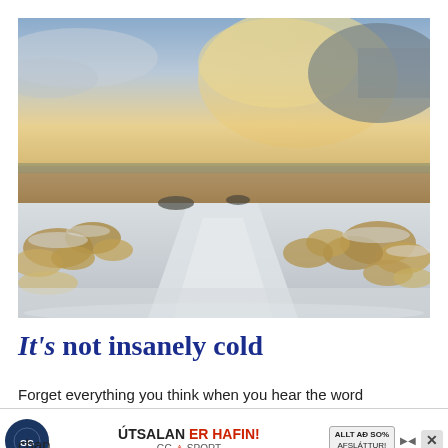[Figure (photo): Winter landscape showing a snowy path through frost-covered grass tufts with a calm sea/lake and dramatic golden cloudy sky in the background.]
It's not insanely cold
Forget everything you think when you hear the word "Iceland" — the country's surprisingly chall... si°
[Figure (infographic): Advertisement banner for GG Sport: ÚTSALAN ER HAFIN! (Sale has begun!) with logo, close button, arrows, and discount info box reading ALLT AÐ SON AFSLÁTTUR!]